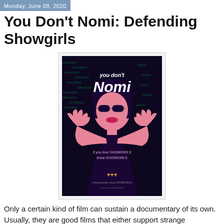Monday, June 08, 2020
You Don't Nomi: Defending Showgirls
[Figure (illustration): Movie poster for 'You Don't Nomi' documentary. Dark background with green matrix-style falling text. A stylized woman with pink skin, dark hair, sunglasses, and dramatic makeup extending her hands. Large stylized text reads 'you don't Nomi' in white/pink. Subtitle text below reads 'If you love SHOWGIRLS'. Award laurels and credits at bottom.]
Only a certain kind of film can sustain a documentary of its own. Usually, they are good films that either support strange interpretations (as with Room 237 on The Shining) or were the result of notoriously dramatic production shoot (like The Exorcist). Paul Verhoeven's Showgirls stands in a classless class by itself. Initially reviled, it has developed a weird cult following, with Midnight screenings in the tradition of Rocky Horror Picture Show. Several of its most vocal champions